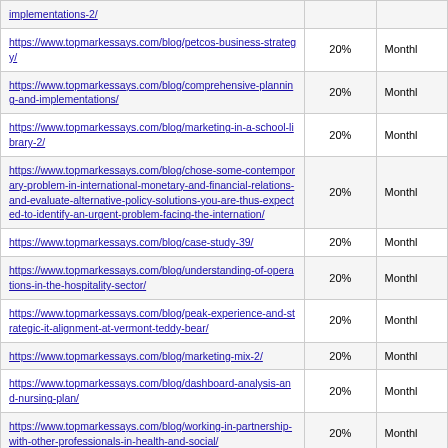| URL | % | Frequency |
| --- | --- | --- |
| implementations-2/ | 20% | Monthly |
| https://www.topmarkessays.com/blog/petcos-business-strategy/ | 20% | Monthly |
| https://www.topmarkessays.com/blog/comprehensive-planning-and-implementations/ | 20% | Monthly |
| https://www.topmarkessays.com/blog/marketing-in-a-school-library-2/ | 20% | Monthly |
| https://www.topmarkessays.com/blog/chose-some-contemporary-problem-in-international-monetary-and-financial-relations-and-evaluate-alternative-policy-solutions-you-are-thus-expected-to-identify-an-urgent-problem-facing-the-internation/ | 20% | Monthly |
| https://www.topmarkessays.com/blog/case-study-39/ | 20% | Monthly |
| https://www.topmarkessays.com/blog/understanding-of-operations-in-the-hospitality-sector/ | 20% | Monthly |
| https://www.topmarkessays.com/blog/peak-experience-and-strategic-it-alignment-at-vermont-teddy-bear/ | 20% | Monthly |
| https://www.topmarkessays.com/blog/marketing-mix-2/ | 20% | Monthly |
| https://www.topmarkessays.com/blog/dashboard-analysis-and-nursing-plan/ | 20% | Monthly |
| https://www.topmarkessays.com/blog/working-in-partnership-with-other-professionals-in-health-and-social/ | 20% | Monthly |
| https://www.topmarkessays.com/blog/oedipus-the-king-3/ | 20% | Monthly |